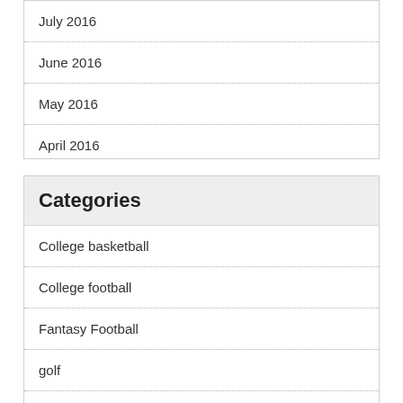July 2016
June 2016
May 2016
April 2016
Categories
College basketball
College football
Fantasy Football
golf
MLB
Mystery Punch
NBA